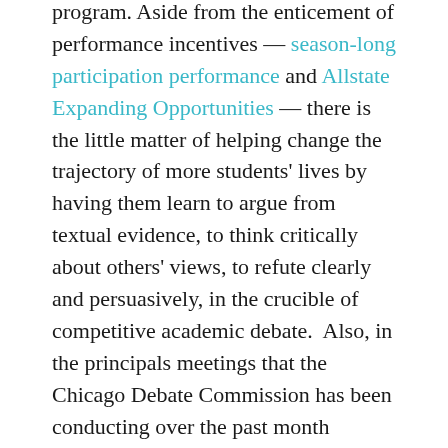program. Aside from the enticement of performance incentives — season-long participation performance and Allstate Expanding Opportunities — there is the little matter of helping change the trajectory of more students' lives by having them learn to argue from textual evidence, to think critically about others' views, to refute clearly and persuasively, in the crucible of competitive academic debate.  Also, in the principals meetings that the Chicago Debate Commission has been conducting over the past month principals have consistently said that one of their primary objectives is to increase student involvement in their debate program.
Be aware that students who debate in fewer than 10 rounds this season will be eligible to